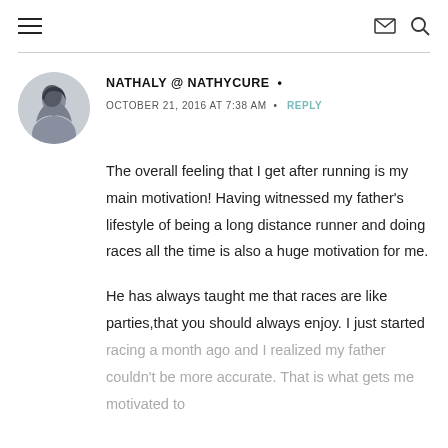≡  ✉ 🔍
NATHALY @ NATHYCURE •
OCTOBER 21, 2016 AT 7:38 AM  •  REPLY
The overall feeling that I get after running is my main motivation! Having witnessed my father's lifestyle of being a long distance runner and doing races all the time is also a huge motivation for me.
He has always taught me that races are like parties,that you should always enjoy. I just started racing a month ago and I realized my father couldn't be more accurate. That is what gets me motivated to